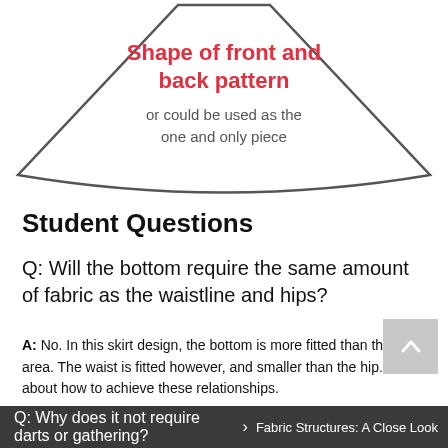[Figure (illustration): Trapezoid-like skirt pattern piece shape with curved bottom edge. Red bold text reads 'Shape of front and back pattern'. Below it in gray: 'or could be used as the one and only piece'.]
Student Questions
Q: Will the bottom require the same amount of fabric as the waistline and hips?
A: No. In this skirt design, the bottom is more fitted than the hip area. The waist is fitted however, and smaller than the hip. Think about how to achieve these relationships.
Q: Why does it not require darts or gathering?
Fabric Structures: A Close Look